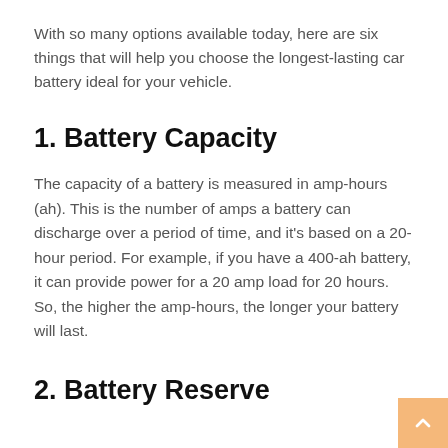With so many options available today, here are six things that will help you choose the longest-lasting car battery ideal for your vehicle.
1. Battery Capacity
The capacity of a battery is measured in amp-hours (ah). This is the number of amps a battery can discharge over a period of time, and it’s based on a 20-hour period. For example, if you have a 400-ah battery, it can provide power for a 20 amp load for 20 hours. So, the higher the amp-hours, the longer your battery will last.
2. Battery Reserve